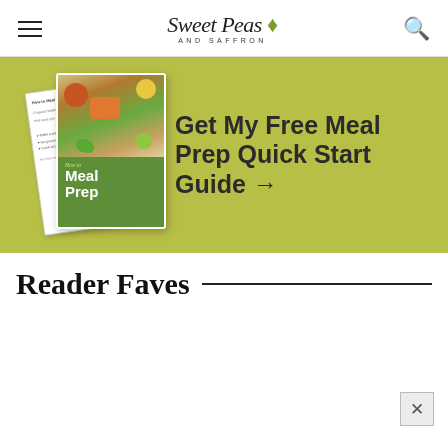Sweet Peas AND SAFFRON
[Figure (infographic): Promotional banner with olive-green background showing a 'How to Meal Prep' guide booklet with vegetables, and bold text: Get My Free Meal Prep Quick Start Guide →]
Reader Faves